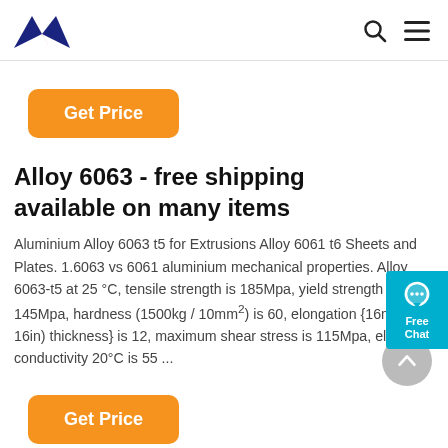ANN logo, search icon, menu icon
Get Price
Alloy 6063 - free shipping available on many items
Aluminium Alloy 6063 t5 for Extrusions Alloy 6061 t6 Sheets and Plates. 1.6063 vs 6061 aluminium mechanical properties. Alloy 6063-t5 at 25 °C, tensile strength is 185Mpa, yield strength is 145Mpa, hardness (1500kg / 10mm²) is 60, elongation {16mm (1 / 16in) thickness} is 12, maximum shear stress is 115Mpa, electrical conductivity 20°C is 55 ...
Get Price